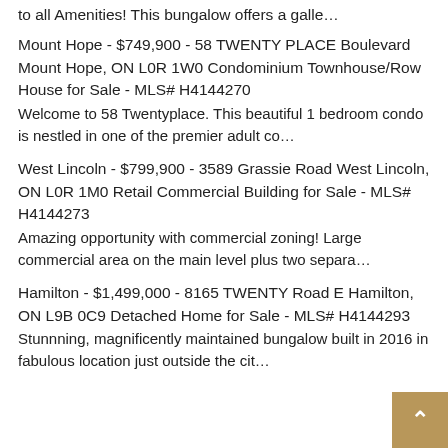to all Amenities! This bungalow offers a galle...
Mount Hope - $749,900 - 58 TWENTY PLACE Boulevard Mount Hope, ON L0R 1W0 Condominium Townhouse/Row House for Sale - MLS# H4144270
Welcome to 58 Twentyplace. This beautiful 1 bedroom condo is nestled in one of the premier adult co...
West Lincoln - $799,900 - 3589 Grassie Road West Lincoln, ON L0R 1M0 Retail Commercial Building for Sale - MLS# H4144273
Amazing opportunity with commercial zoning! Large commercial area on the main level plus two separa...
Hamilton - $1,499,000 - 8165 TWENTY Road E Hamilton, ON L9B 0C9 Detached Home for Sale - MLS# H4144293
Stunnning, magnificently maintained bungalow built in 2016 in fabulous location just outside the cit...